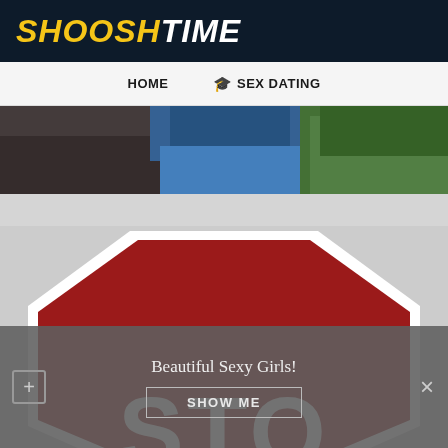SHOOSHTIME
HOME   🎓 SEX DATING
[Figure (photo): Partial outdoor photo showing person in blue jeans/jacket crouching near dark ground and green foliage]
[Figure (photo): Stop sign shown from below/angle, large red octagon with white border and white letters 'STO' visible at bottom]
Beautiful Sexy Girls!
SHOW ME